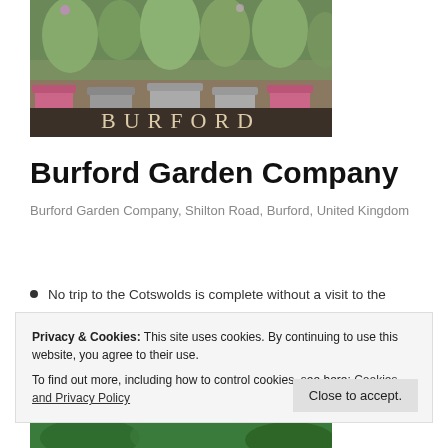[Figure (photo): Photo of Burford Garden Company entrance with potted ornamental grasses in pink and grey pots, with 'BURFORD' text visible on stone/wooden signage below]
Burford Garden Company
Burford Garden Company, Shilton Road, Burford, United Kingdom
No trip to the Cotswolds is complete without a visit to the
Privacy & Cookies: This site uses cookies. By continuing to use this website, you agree to their use.
To find out more, including how to control cookies, see here: Cookies and Privacy Policy
[Figure (photo): Partial bottom photo of garden/trees]